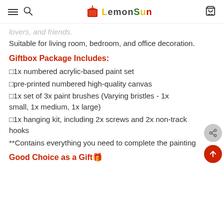LEMONSUN
lovers, and friends.
Suitable for living room, bedroom, and office decoration.
Giftbox Package Includes:
□1x numbered acrylic-based paint set
□pre-printed numbered high-quality canvas
□1x set of 3x paint brushes (Varying bristles - 1x small, 1x medium, 1x large)
□1x hanging kit, including 2x screws and 2x non-track hooks
**Contains everything you need to complete the painting
Good Choice as a Gift🎁